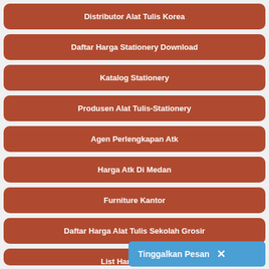Distributor Alat Tulis Korea
Daftar Harga Stationery Download
Katalog Stationery
Produsen Alat Tulis-Stationery
Agen Perlengkapan Atk
Harga Atk Di Medan
Furniture Kantor
Daftar Harga Alat Tulis Sekolah Grosir
List Harga Barang
Tinggalkan Pesan ×